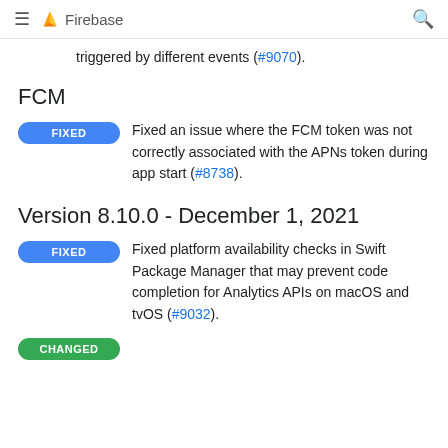Firebase
triggered by different events (#9070).
FCM
Fixed an issue where the FCM token was not correctly associated with the APNs token during app start (#8738).
Version 8.10.0 - December 1, 2021
Fixed platform availability checks in Swift Package Manager that may prevent code completion for Analytics APIs on macOS and tvOS (#9032).
(clipped)